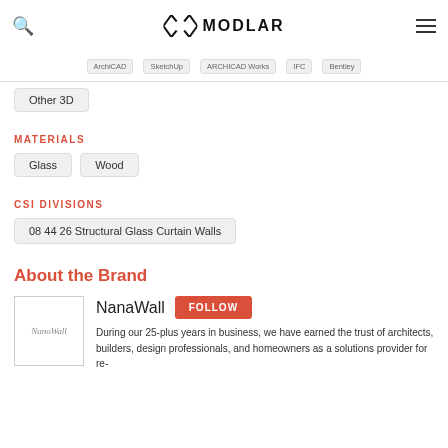MODLAR
ArchiCAD  SketchUp  ARCHICAD Works  IFC  Bentley
Other 3D
MATERIALS
Glass  Wood
CSI DIVISIONS
08 44 26 Structural Glass Curtain Walls
About the Brand
NanaWall  FOLLOW
During our 25-plus years in business, we have earned the trust of architects, builders, design professionals, and homeowners as a solutions provider for re-